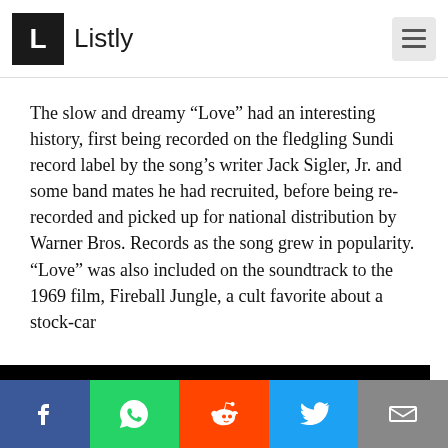Listly
The slow and dreamy “Love” had an interesting history, first being recorded on the fledgling Sundi record label by the song’s writer Jack Sigler, Jr. and some band mates he had recruited, before being re-recorded and picked up for national distribution by Warner Bros. Records as the song grew in popularity. “Love” was also included on the soundtrack to the 1969 film, Fireball Jungle, a cult favorite about a stock-car
This website uses cookies to ensure you get the best experience on our website. Learn more Got it!